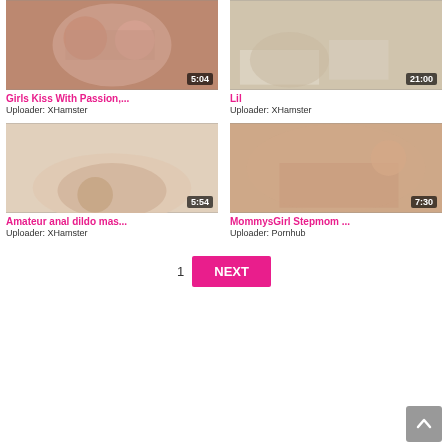[Figure (screenshot): Video thumbnail for Girls Kiss With Passion with duration 5:04]
Girls Kiss With Passion,...
Uploader: XHamster
[Figure (screenshot): Video thumbnail for Lil with duration 21:00]
Lil
Uploader: XHamster
[Figure (screenshot): Video thumbnail for Amateur anal dildo mas... with duration 5:54]
Amateur anal dildo mas...
Uploader: XHamster
[Figure (screenshot): Video thumbnail for MommysGirl Stepmom ... with duration 7:30]
MommysGirl Stepmom ...
Uploader: Pornhub
1
NEXT